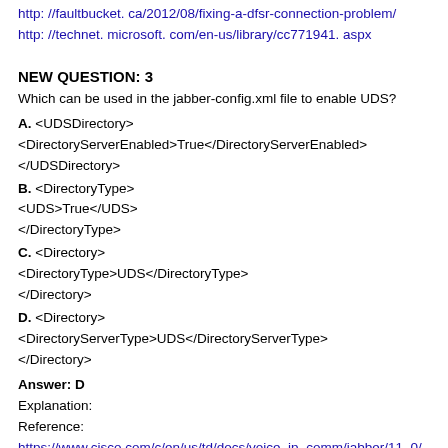http: //faultbucket. ca/2012/08/fixing-a-dfsr-connection-problem/
http: //technet. microsoft. com/en-us/library/cc771941. aspx
NEW QUESTION: 3
Which can be used in the jabber-config.xml file to enable UDS?
A. <UDSDirectory>
<DirectoryServerEnabled>True</DirectoryServerEnabled>
</UDSDirectory>
B. <DirectoryType>
<UDS>True</UDS>
</DirectoryType>
C. <Directory>
<DirectoryType>UDS</DirectoryType>
</Directory>
D. <Directory>
<DirectoryServerType>UDS</DirectoryServerType>
</Directory>
Answer: D
Explanation:
Reference:
https://www.cisco.com/c/en/us/td/docs/voice_ip_comm/jabber/11_0/...
jabber-par.